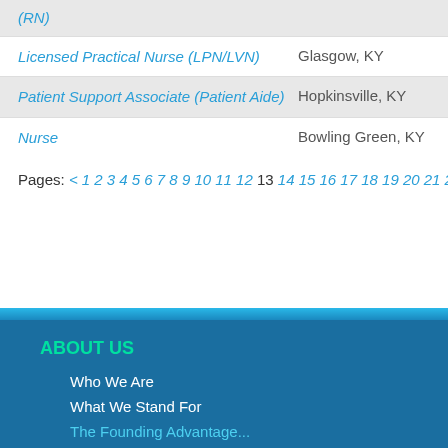(RN)
Licensed Practical Nurse (LPN/LVN) | Glasgow, KY
Patient Support Associate (Patient Aide) | Hopkinsville, KY
Nurse | Bowling Green, KY
Pages: < 1 2 3 4 5 6 7 8 9 10 11 12 13 14 15 16 17 18 19 20 21 22 23 24 25 26 27 28 29 30 31 32 33 34 35 36 37 38 39 40 41 42 43 44 45 46 47 48 49 50 51 52 53 54 55 56 57 58 59 60 61 62 63 64 65 66 67 68 69 70 71 72 73 74 75 >
ABOUT US
Who We Are
What We Stand For
The Founding Advantage...